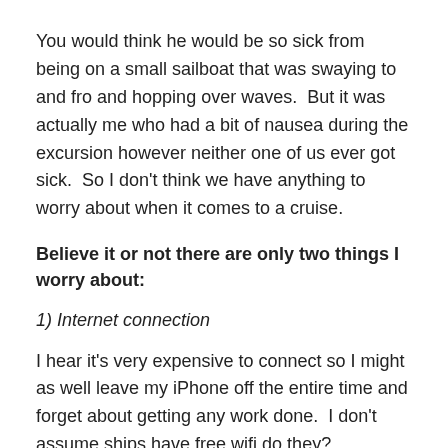You would think he would be so sick from being on a small sailboat that was swaying to and fro and hopping over waves.  But it was actually me who had a bit of nausea during the excursion however neither one of us ever got sick.  So I don't think we have anything to worry about when it comes to a cruise.
Believe it or not there are only two things I worry about:
1) Internet connection
I hear it's very expensive to connect so I might as well leave my iPhone off the entire time and forget about getting any work done.  I don't assume ships have free wifi do they?
2) Sickness